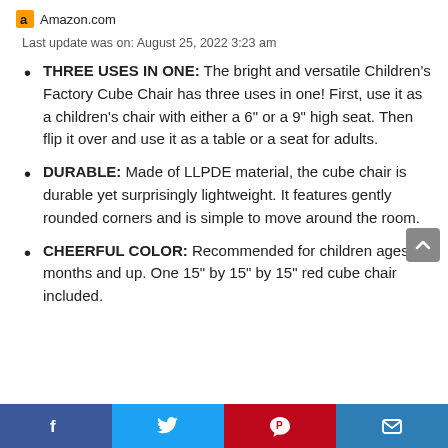Amazon.com
Last update was on: August 25, 2022 3:23 am
THREE USES IN ONE: The bright and versatile Children's Factory Cube Chair has three uses in one! First, use it as a children's chair with either a 6" or a 9" high seat. Then flip it over and use it as a table or a seat for adults.
DURABLE: Made of LLPDE material, the cube chair is durable yet surprisingly lightweight. It features gently rounded corners and is simple to move around the room.
CHEERFUL COLOR: Recommended for children ages 12 months and up. One 15" by 15" by 15" red cube chair included.
Facebook | Twitter | Pinterest | Email